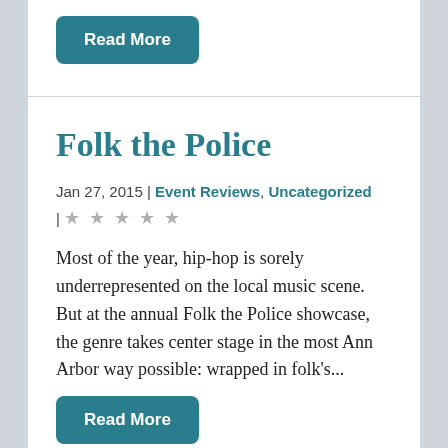Read More
Folk the Police
Jan 27, 2015 | Event Reviews, Uncategorized | ★★★★★
Most of the year, hip-hop is sorely underrepresented on the local music scene. But at the annual Folk the Police showcase, the genre takes center stage in the most Ann Arbor way possible: wrapped in folk's...
Read More